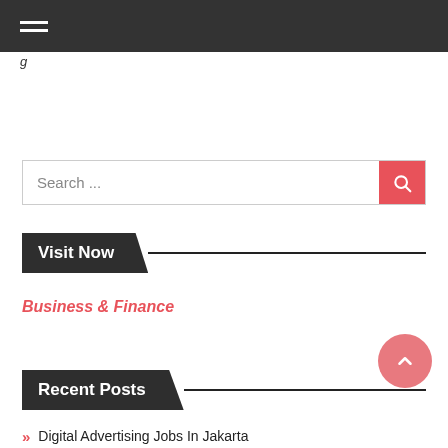g
Search ...
Visit Now
Business & Finance
Recent Posts
Digital Advertising Jobs In Jakarta